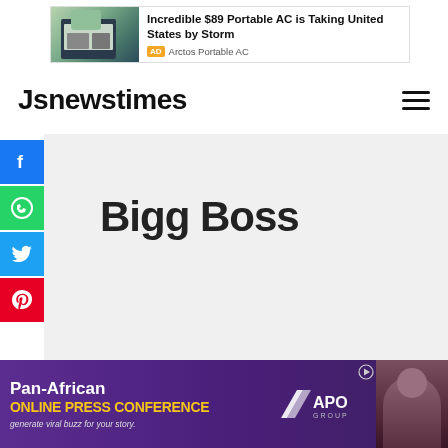[Figure (other): Advertisement banner: Incredible $89 Portable AC is Taking United States by Storm. AD Arctos Portable AC]
Jsnewstimes
[Figure (other): Social media share icons sidebar: Facebook (blue), WhatsApp (green), Twitter (blue), Pinterest (red)]
Bigg Boss
[Figure (other): Bottom advertisement: Pan-African ONLINE PRESS CONFERENCE APO GROUP — generate viral buzz for your story.]